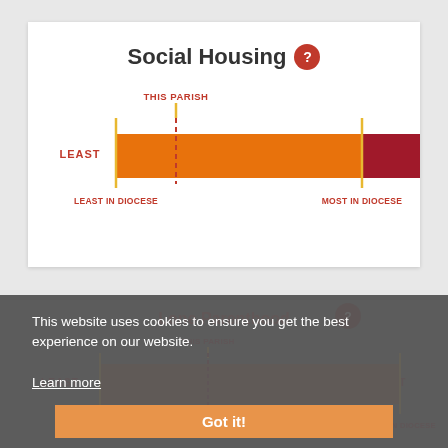Social Housing ?
[Figure (infographic): Horizontal bar chart showing parish position between LEAST and MOST for Social Housing. Orange bar from LEAST IN DIOCESE marker to MOST IN DIOCESE marker, red bar extends beyond MOST IN DIOCESE to near MOST. Dashed red vertical line marks THIS PARISH position near the LEAST IN DIOCESE marker.]
[Figure (infographic): Lone Parenthood chart partially visible behind cookie consent overlay. Similar bar layout with THIS PARISH marker, LEAST and MOST labels, LEAST IN DIOCESE and MOST IN DIOCESE markers.]
This website uses cookies to ensure you get the best experience on our website.
Learn more
Got it!